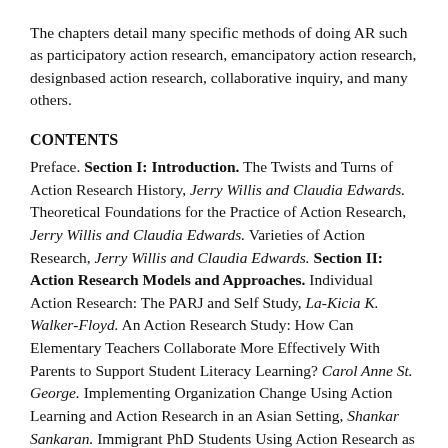The chapters detail many specific methods of doing AR such as participatory action research, emancipatory action research, designbased action research, collaborative inquiry, and many others.
CONTENTS
Preface. Section I: Introduction. The Twists and Turns of Action Research History, Jerry Willis and Claudia Edwards. Theoretical Foundations for the Practice of Action Research, Jerry Willis and Claudia Edwards. Varieties of Action Research, Jerry Willis and Claudia Edwards. Section II: Action Research Models and Approaches. Individual Action Research: The PARJ and Self Study, La-Kicia K. Walker-Floyd. An Action Research Study: How Can Elementary Teachers Collaborate More Effectively With Parents to Support Student Literacy Learning? Carol Anne St. George. Implementing Organization Change Using Action Learning and Action Research in an Asian Setting, Shankar Sankaran. Immigrant PhD Students Using Action Research as a Tool in Career Preparation, Wenying Shi. Pragmatic Interpretive Action Research: Addressing a Problem: Situated Literacies in the Homes and